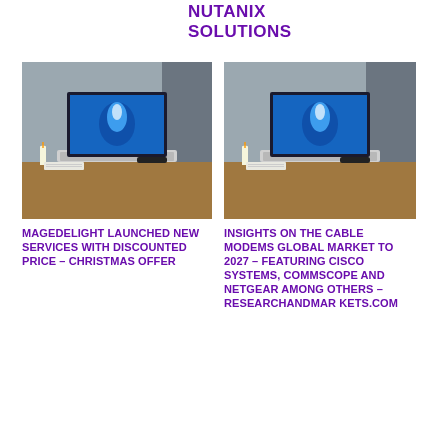NUTANIX SOLUTIONS
[Figure (photo): Laptop on a wooden desk with a glowing screen showing a hand reaching out, with a candle and notebook nearby]
MAGEDELIGHT LAUNCHED NEW SERVICES WITH DISCOUNTED PRICE – CHRISTMAS OFFER
[Figure (photo): Laptop on a wooden desk with a glowing screen showing a hand reaching out, with a candle and notebook nearby]
INSIGHTS ON THE CABLE MODEMS GLOBAL MARKET TO 2027 – FEATURING CISCO SYSTEMS, COMMSCOPE AND NETGEAR AMONG OTHERS – RESEARCHANDMARKETS.COM